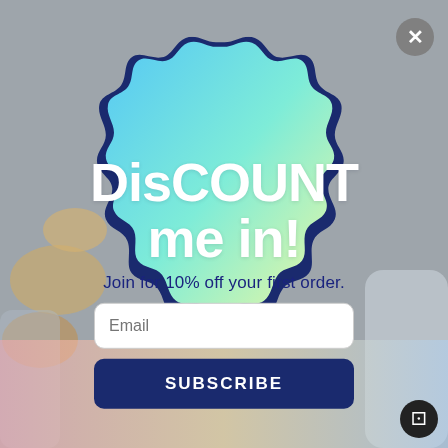[Figure (illustration): Background image showing cashew nuts floating on a grey background with food product containers on the sides]
DisCOUNT me in!
Join for 10% off your first order.
Email (input field)
SUBSCRIBE